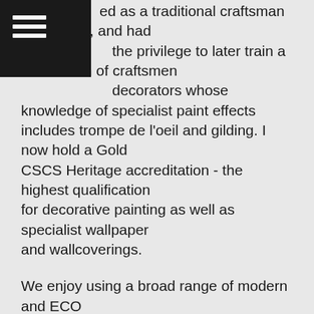≡ (hamburger menu)
ed as a traditional craftsman apprentice, and had the privilege to later train a small team of craftsmen decorators whose knowledge of specialist paint effects includes trompe de l'oeil and gilding. I now hold a Gold CSCS Heritage accreditation - the highest qualification for decorative painting as well as specialist wallpaper and wallcoverings.
We enjoy using a broad range of modern and ECO paints, and over the years, thanks to our extensive product knowledge, we have been invited to Decorex, the leading interior design exhibition, where we have assisted with completely new decorating products and furniture paint finishes prior to their launch.
We have also regularly been asked to demonstrate our knowledge of traditional paints in conjunction with SPAB and in National Trust and English Heritage listed properties.
If you have any tricky decorating issues on period